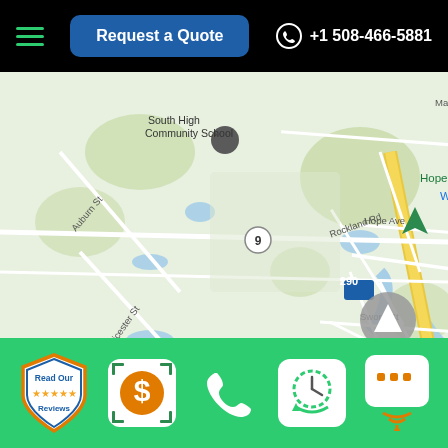Request a Quote  +1 508-466-5881
[Figure (map): Google Maps screenshot showing Worcester, MA area with street labels: South High Community School, Marshalls, Popeyes Louisiana Kitchen, Hope Cemetery, Walmart, streets including Stafford St, Heard St, Auburn St, Leicester St, Pinehurst Ave, Boyce St, Rockland Rd, Pakacheck St, Hope Ave, Sword St, Webster St, route markers 9, 290, 12]
[Figure (infographic): Green footer bar with 5 icons: Read Our Reviews badge, Dollar sign quote icon, Phone call icon, Clock/schedule icon, Chat/message icon]